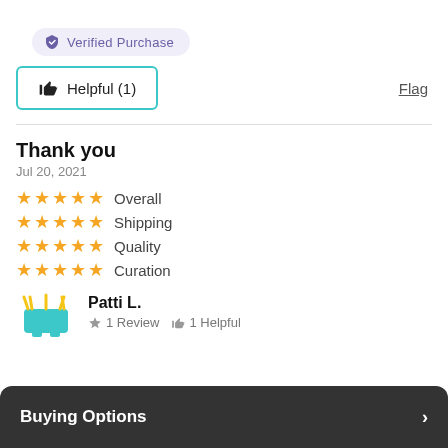Verified Purchase
Helpful (1)
Flag
Thank you
Jul 20, 2021
★★★★★ Overall
★★★★★ Shipping
★★★★★ Quality
★★★★★ Curation
Patti L.
1 Review  1 Helpful
Buying Options